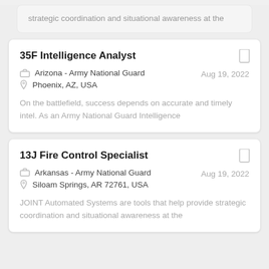strategic coordination and situational awareness at the
35F Intelligence Analyst
Arizona - Army National Guard
Phoenix, AZ, USA
Aug 19, 2022
On the battlefield, success depends on accurate and timely intel. As an Army National Guard Intelligence
13J Fire Control Specialist
Arkansas - Army National Guard
Siloam Springs, AR 72761, USA
Aug 19, 2022
JOINT Automated Systems are tools that help provide strategic coordination and situational awareness at the